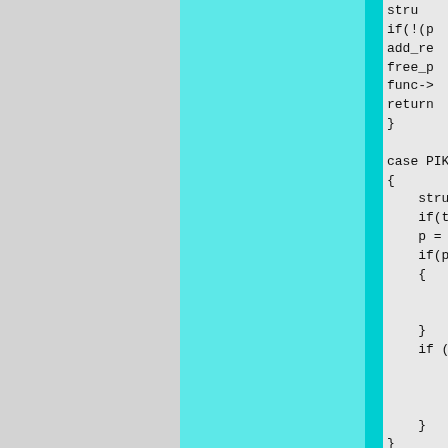[Figure (other): Partial view of source code showing C-style switch/case structure with struct, if, add_re, free_p, func->, return, case PIK, struct, if, p =, if(p, p, if, re, st, re, break, default, SIMPLE, pop_n_elem, push_int( fragments. Left portion covered by gray and teal/cyan decorative columns.]